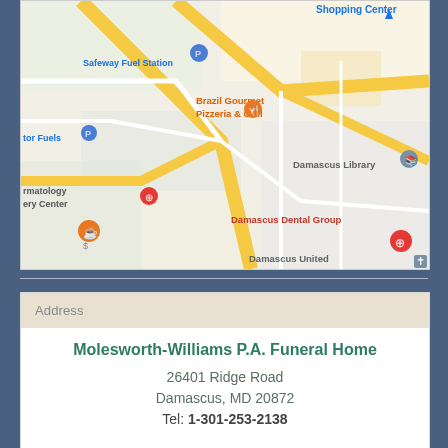[Figure (map): Google Maps screenshot showing Damascus, MD area with roads, landmarks including Safeway Fuel Station, Brazil Gourmet Pizzeria & Grill, Damascus Library, Damascus Dental Group, Damascus United, and other nearby businesses.]
| Address |
| --- |
| Molesworth-Williams P.A. Funeral Home |
| 26401 Ridge Road |
| Damascus, MD 20872 |
| Tel: 1-301-253-2138 |